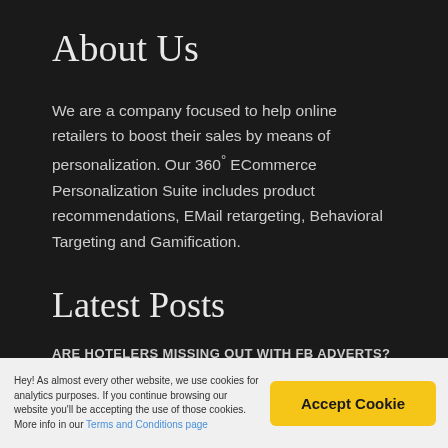About Us
We are a company focused to help online retailers to boost their sales by means of personalization. Our 360° ECommerce Personalization Suite includes product recommendations, EMail retargeting, Behavioral Targeting and Gamification.
Latest Posts
ARE HOTELERS MISSING OUT WITH FB ADVERTS? June 21, 2017
HOW AI POWERED SEMANTIC SEARCH CAN INCREASE YOUR ECOMMERCE CONVERSION June 21, 2017
Hey! As almost every other website, we use cookies for analytics purposes. If you continue browsing our website you'll be accepting the use of those cookies. More info in our Terms and Conditions page
Accept Cookie